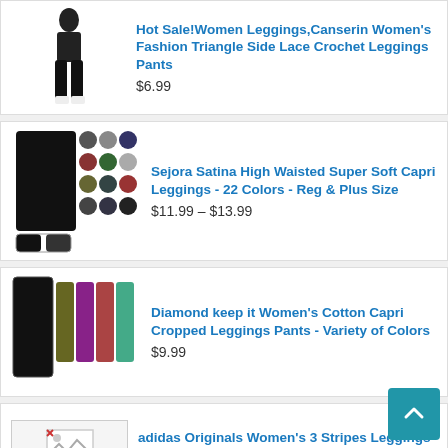Hot Sale!Women Leggings,Canserin Women's Fashion Triangle Side Lace Crochet Leggings Pants
$6.99
Sejora Satina High Waisted Super Soft Capri Leggings - 22 Colors - Reg & Plus Size
$11.99 – $13.99
Diamond keep it Women's Cotton Capri Cropped Leggings Pants - Variety of Colors
$9.99
adidas Originals Women's 3 Stripes Leggings
$26.62 – $39.95
LMB Extra Soft Leggings with High Yoga Waist - 20+ Best Selling Colors - Plus
$11.99